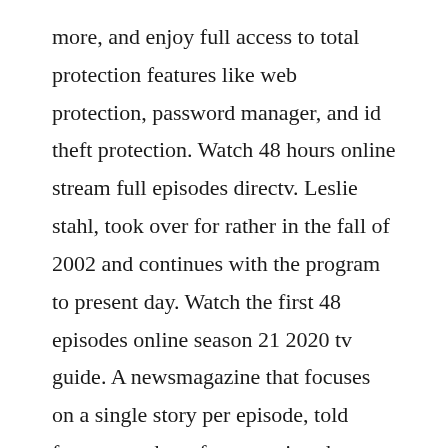more, and enjoy full access to total protection features like web protection, password manager, and id theft protection. Watch 48 hours online stream full episodes directv. Leslie stahl, took over for rather in the fall of 2002 and continues with the program to present day. Watch the first 48 episodes online season 21 2020 tv guide. A newsmagazine that focuses on a single story per episode, told from a number of perspectives by a group of correspondents. Watch the first 48 episodes online season 21 2020 tv. The first is the overall time limit they put on you when